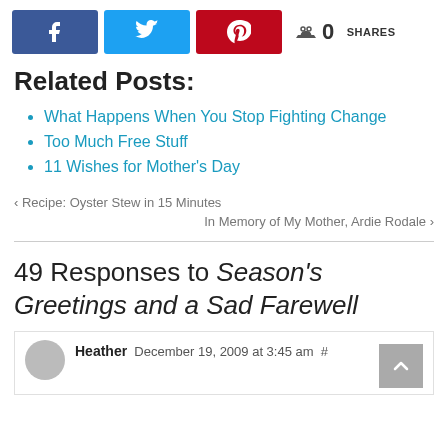[Figure (infographic): Social share buttons: Facebook (blue), Twitter (cyan), Pinterest (red), and a share count showing 0 SHARES]
Related Posts:
What Happens When You Stop Fighting Change
Too Much Free Stuff
11 Wishes for Mother's Day
‹ Recipe: Oyster Stew in 15 Minutes
In Memory of My Mother, Ardie Rodale ›
49 Responses to Season's Greetings and a Sad Farewell
Heather December 19, 2009 at 3:45 am #